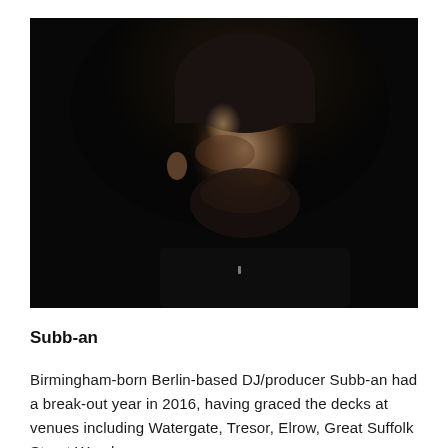[Figure (photo): Black and white portrait photo of Subb-an, a young man with short dark hair and beard, looking downward, wearing a dark jacket, shot against a very dark background]
Subb-an
Birmingham-born Berlin-based DJ/producer Subb-an had a break-out year in 2016, having graced the decks at venues including Watergate, Tresor, Elrow, Great Suffolk Street Warehouse